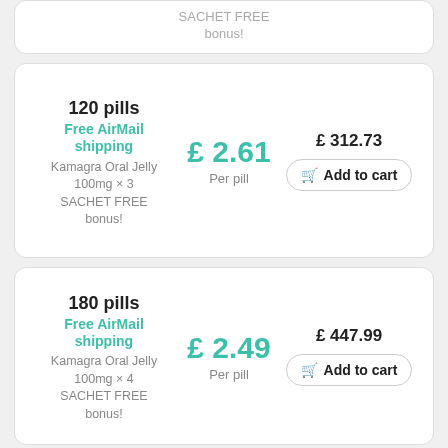SACHET FREE bonus!
120 pills
Free AirMail shipping
Kamagra Oral Jelly 100mg × 3 SACHET FREE bonus!
£ 2.61 Per pill
£ 312.73
Add to cart
180 pills
Free AirMail shipping
Kamagra Oral Jelly 100mg × 4 SACHET FREE bonus!
£ 2.49 Per pill
£ 447.99
Add to cart